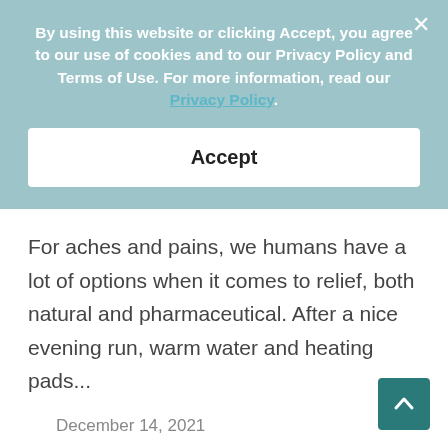By using this website or clicking Accept, you agree to our use of cookies and to our Privacy Policy and Terms of Use. For more information, read our Privacy Policy.
Accept
For aches and pains, we humans have a lot of options when it comes to relief, both natural and pharmaceutical. After a nice evening run, warm water and heating pads...
December 14, 2021